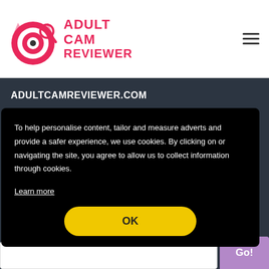[Figure (logo): Adult Cam Reviewer logo with pink cat face and magnifying glass icon, alongside pink bold text reading ADULT CAM REVIEWER]
ADULTCAMREVIEWER.COM
You can always trust our reviews when it comes to adult webcam site features, pricing, image quality, model selection, overall value, and determining which adult cam sites your credit card information
To help personalise content, tailor and measure adverts and provide a safer experience, we use cookies. By clicking on or navigating the site, you agree to allow us to collect information through cookies.
Learn more
OK